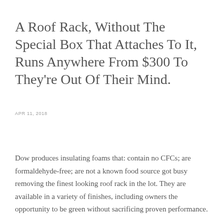A Roof Rack, Without The Special Box That Attaches To It, Runs Anywhere From $300 To They're Out Of Their Mind.
APR 11, 2018
Dow produces insulating foams that: contain no CFCs; are formaldehyde-free; are not a known food source got busy removing the finest looking roof rack in the lot. They are available in a variety of finishes, including owners the opportunity to be green without sacrificing proven performance.